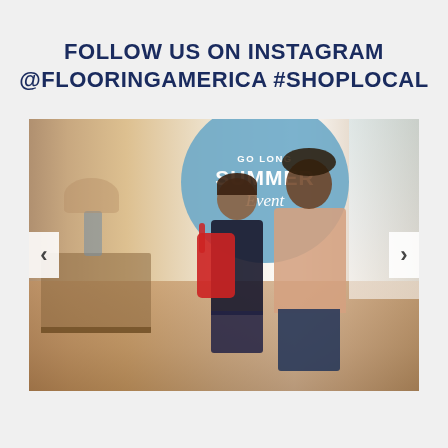FOLLOW US ON INSTAGRAM @FLOORINGAMERICA #SHOPLOCAL
[Figure (photo): Instagram carousel image showing a mother and child in a home entryway with hardwood floors. Child is wearing a red backpack. A blue circular badge overlay reads 'GO LONG SUMMER Event'. Navigation arrows on left and right sides of the image.]